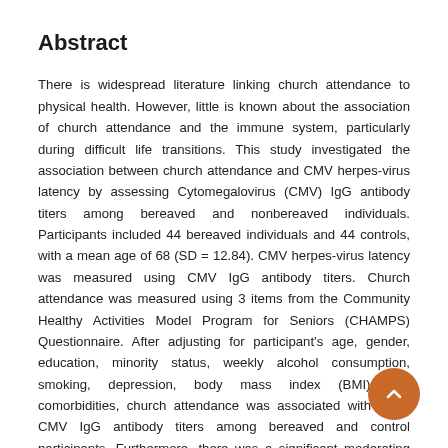Abstract
There is widespread literature linking church attendance to physical health. However, little is known about the association of church attendance and the immune system, particularly during difficult life transitions. This study investigated the association between church attendance and CMV herpes-virus latency by assessing Cytomegalovirus (CMV) IgG antibody titers among bereaved and nonbereaved individuals. Participants included 44 bereaved individuals and 44 controls, with a mean age of 68 (SD = 12.84). CMV herpes-virus latency was measured using CMV IgG antibody titers. Church attendance was measured using 3 items from the Community Healthy Activities Model Program for Seniors (CHAMPS) Questionnaire. After adjusting for participant's age, gender, education, minority status, weekly alcohol consumption, smoking, depression, body mass index (BMI) and comorbidities, church attendance was associated with lower CMV IgG antibody titers among bereaved and control participants. Furthermore, there was a significant moderating effect of church attendance in the association between bereavement status and CMV IgG antibody titers, so that bereaved individuals attending church were found to have less